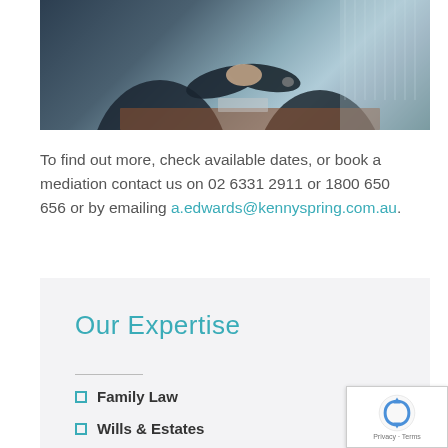[Figure (photo): Two people in business attire shaking hands across a conference table, with blinds visible in the background.]
To find out more, check available dates, or book a mediation contact us on 02 6331 2911 or 1800 650 656 or by emailing a.edwards@kennyspring.com.au.
Our Expertise
Family Law
Wills & Estates